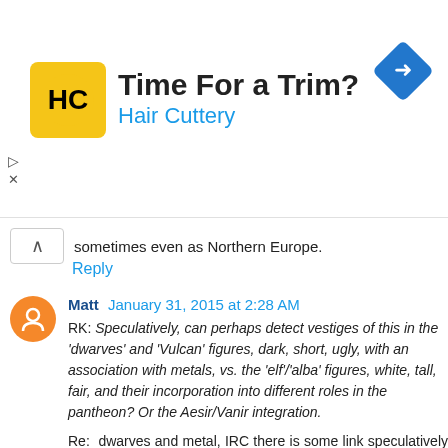[Figure (infographic): Advertisement banner for Hair Cuttery with logo, tagline 'Time For a Trim?', and navigation icon]
sometimes even as Northern Europe.
Reply
Matt  January 31, 2015 at 2:28 AM
RK: Speculatively, can perhaps detect vestiges of this in the 'dwarves' and 'Vulcan' figures, dark, short, ugly, with an association with metals, vs. the 'elf'/'alba' figures, white, tall, fair, and their incorporation into different roles in the pantheon? Or the Aesir/Vanir integration.
Re: dwarves and metal, IRC there is some link speculatively made to Bronze Age craftsmen who had to handle arsenic, Davidski has an similar post for this from 2013 although not focused on the arsenic idea. Although Europe used tin bronzes.